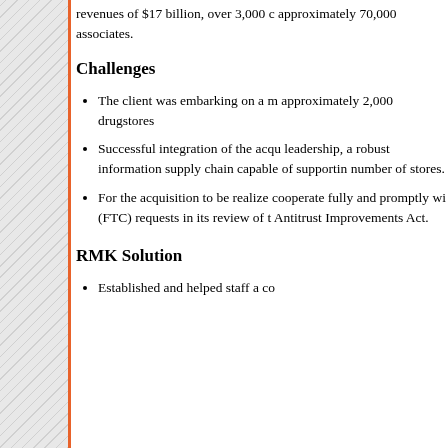revenues of $17 billion, over 3,000 c approximately 70,000 associates.
Challenges
The client was embarking on a m approximately 2,000 drugstores
Successful integration of the acq leadership, a robust information supply chain capable of supporti number of stores.
For the acquisition to be realize cooperate fully and promptly wi (FTC) requests in its review of t Antitrust Improvements Act.
RMK Solution
Established and helped staff a co